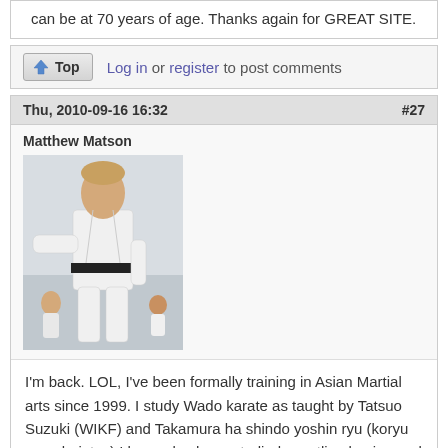can be at 70 years of age.  Thanks again for GREAT SITE.
Log in or register to post comments
Thu, 2010-09-16 16:32   #27
Matthew Matson
[Figure (photo): Photo of Matthew Matson in a white karate gi with black belt, performing a martial arts stance]
I'm back. LOL, I've been formally training in Asian Martial arts since 1999. I study Wado karate as taught by Tatsuo Suzuki (WIKF) and Takamura ha shindo yoshin ryu (koryu sogo bujutsu) I have also have studied wrestling boxing and European sword fighting. I have had karate training in Japan, Portugal, Puerto Rico, and all over the USA. I have a Masters degree in Sports Performance and injury prevention. I have been a personal trainer/athletic trainer since 2001.  Along with my traditional karate and old school jujutsu studying I am also a coach